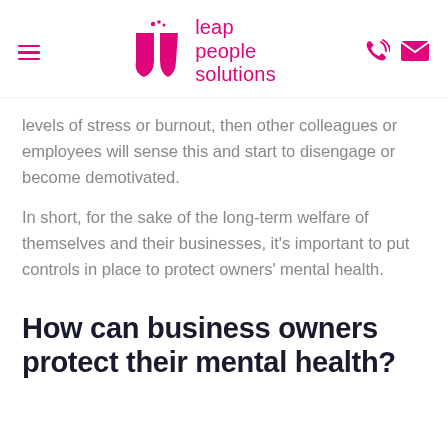leap people solutions
levels of stress or burnout, then other colleagues or employees will sense this and start to disengage or become demotivated.
In short, for the sake of the long-term welfare of themselves and their businesses, it's important to put controls in place to protect owners' mental health.
How can business owners protect their mental health?